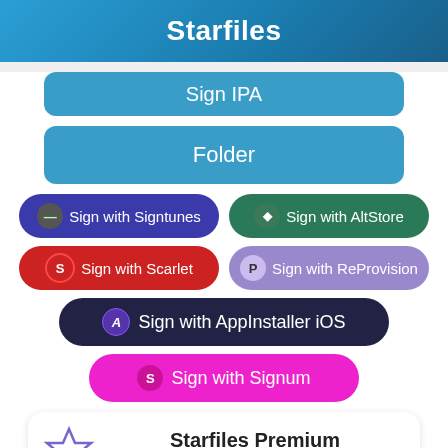Starfiles
Sign IPA
Folder
Sign with Signtunes
Sign with AltStore
Sign with Scarlet
Sign with ReProvision
Sign with AppInstaller iOS
Sign with Signum
Starfiles Premium
Faster downloads
Put ads on specific filetypes.
Advertise on Starfiles
Newer Version of Spotify Detected
Spotify v8.7.58.400 - Spotilife v1.8 - thisismanpreets.ipa
Uploaded 5 d...
Chat